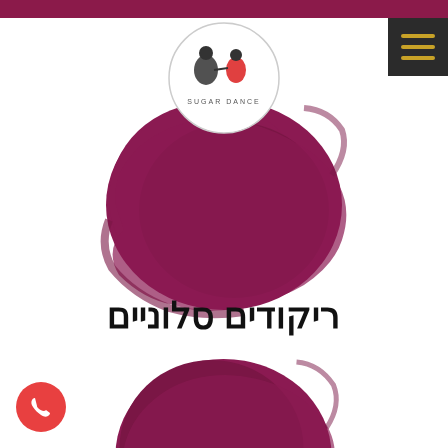[Figure (logo): Sugar Dance studio logo in a circle with two dancers and text SUGAR DANCE]
[Figure (illustration): Large dark magenta/wine-colored paint brush blob circle at the top]
ריקודים סלוניים
[Figure (illustration): Large dark magenta/wine-colored paint brush blob circle at the bottom]
[Figure (illustration): Orange phone icon button in bottom left corner]